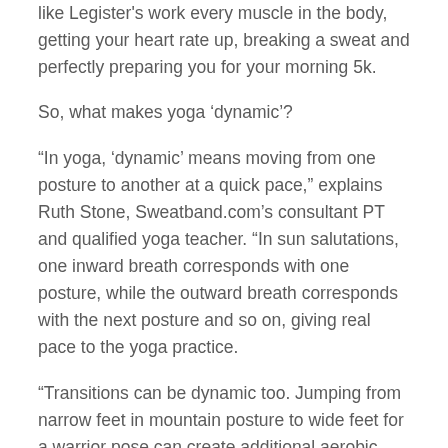like Legister's work every muscle in the body, getting your heart rate up, breaking a sweat and perfectly preparing you for your morning 5k.
So, what makes yoga 'dynamic'?
“In yoga, ‘dynamic’ means moving from one posture to another at a quick pace,” explains Ruth Stone, Sweatband.com’s consultant PT and qualified yoga teacher. “In sun salutations, one inward breath corresponds with one posture, while the outward breath corresponds with the next posture and so on, giving real pace to the yoga practice.
“Transitions can be dynamic too. Jumping from narrow feet in mountain posture to wide feet for a warrior pose can create additional aerobic demand on the body when you’re using yoga as a preparation practice for a run.”